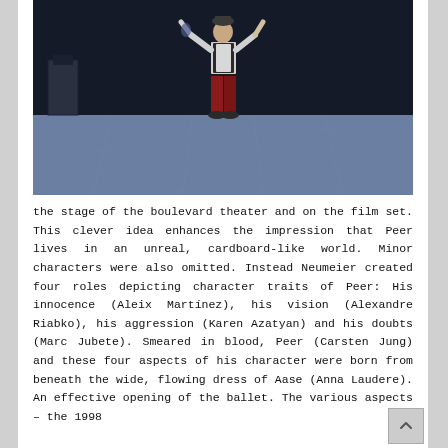[Figure (photo): A performer in red trousers and a white top with dark vest stands center stage on a large open stage floor with a dark curtain backdrop. The figure's arms are raised.]
the stage of the boulevard theater and on the film set. This clever idea enhances the impression that Peer lives in an unreal, cardboard-like world. Minor characters were also omitted. Instead Neumeier created four roles depicting character traits of Peer: His innocence (Aleix Martínez), his vision (Alexandre Riabko), his aggression (Karen Azatyan) and his doubts (Marc Jubete). Smeared in blood, Peer (Carsten Jung) and these four aspects of his character were born from beneath the wide, flowing dress of Aase (Anna Laudere). An effective opening of the ballet. The various aspects – the 1998